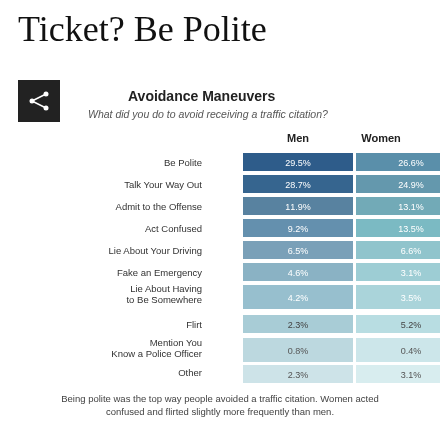Ticket? Be Polite
Avoidance Maneuvers
What did you do to avoid receiving a traffic citation?
[Figure (grouped-bar-chart): Avoidance Maneuvers]
Being polite was the top way people avoided a traffic citation. Women acted confused and flirted slightly more frequently than men.